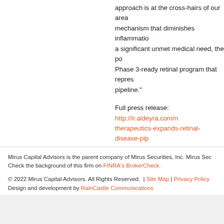approach is at the cross-hairs of our area mechanism that diminishes inflammation a significant unmet medical need, the pot Phase 3-ready retinal program that repres pipeline."
Full press release: http://ir.aldeyra.com/n therapeutics-expands-retinal-disease-pip
+ Share
Mirus Capital Advisors is the parent company of Mirus Securities, Inc. Mirus Sec... Check the background of this firm on FINRA's BrokerCheck.
© 2022 Mirus Capital Advisors. All Rights Reserved. | Site Map | Privacy Policy Design and development by RainCastle Communications